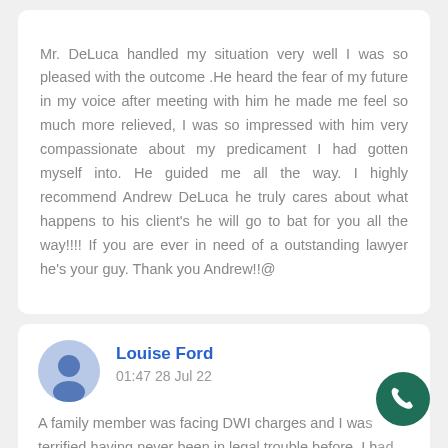Mr. DeLuca handled my situation very well I was so pleased with the outcome .He heard the fear of my future in my voice after meeting with him he made me feel so much more relieved, I was so impressed with him very compassionate about my predicament I had gotten myself into. He guided me all the way. I highly recommend Andrew DeLuca he truly cares about what happens to his client's he will go to bat for you all the way!!!! If you are ever in need of a outstanding lawyer he's your guy. Thank you Andrew!!@
Louise Ford
01:47 28 Jul 22
A family member was facing DWI charges and I was terrified having never been in legal trouble before. I had no idea how the process worked and what to expect...